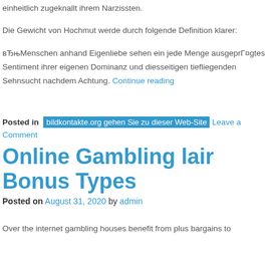einheitlich zugeknallt ihrem Narzissten.
Die Gewicht von Hochmut werde durch folgende Definition klarer:
вЂњMenschen anhand Eigenliebe sehen ein jede Menge ausgeprГ¤gtes Sentiment ihrer eigenen Dominanz und diesseitigen tiefliegenden Sehnsucht nachdem Achtung. Continue reading
Posted in bildkontakte.org gehen Sie zu dieser Web-Site Leave a Comment
Online Gambling lair Bonus Types
Posted on August 31, 2020 by admin
Over the internet gambling houses benefit from plus bargains to